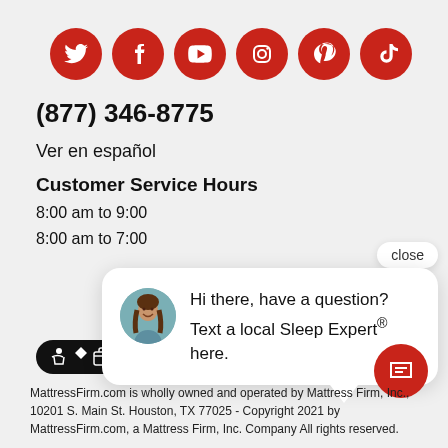[Figure (illustration): Row of 6 social media icons (Twitter, Facebook, YouTube, Instagram, Pinterest, TikTok) as white icons on red circles]
(877) 346-8775
Ver en español
Customer Service Hours
8:00 am to 9:00
8:00 am to 7:00
[Figure (illustration): Accessibility and relay service icons on dark pill badge]
[Figure (illustration): Chat popup with woman avatar and text: Hi there, have a question? Text a local Sleep Expert® here.]
close
[Figure (illustration): Red chat FAB button with message icon]
MattressFirm.com is wholly owned and operated by Mattress Firm, Inc., 10201 S. Main St. Houston, TX 77025 - Copyright 2021 by MattressFirm.com, a Mattress Firm, Inc. Company All rights reserved.